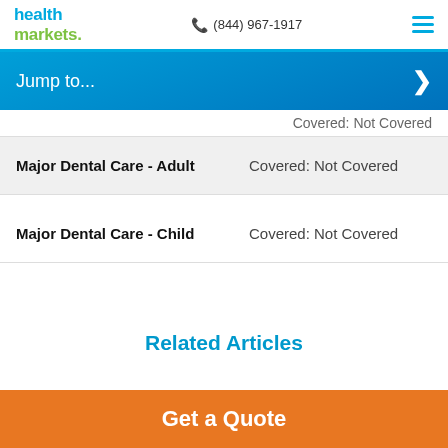health markets | (844) 967-1917
Jump to...
Covered: Not Covered
|  |  |
| --- | --- |
| Major Dental Care - Adult | Covered: Not Covered |
| Major Dental Care - Child | Covered: Not Covered |
Related Articles
Get a Quote